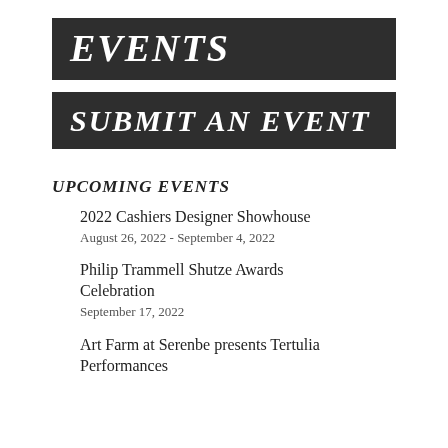EVENTS
SUBMIT AN EVENT
UPCOMING EVENTS
2022 Cashiers Designer Showhouse
August 26, 2022 - September 4, 2022
Philip Trammell Shutze Awards Celebration
September 17, 2022
Art Farm at Serenbe presents Tertulia Performances